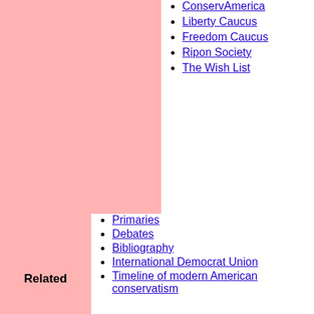ConservAmerica
Liberty Caucus
Freedom Caucus
Ripon Society
The Wish List
Primaries
Debates
Bibliography
International Democrat Union
Timeline of modern American conservatism
Related
Categories
Categories:
Presidency of Dwight D. Eisenhower
Presidencies of the United States
1950s in the United States
1960s in the United States
Dwight D. Eisenhower
1953 establishments in the United States
1961 disestablishments in the United States